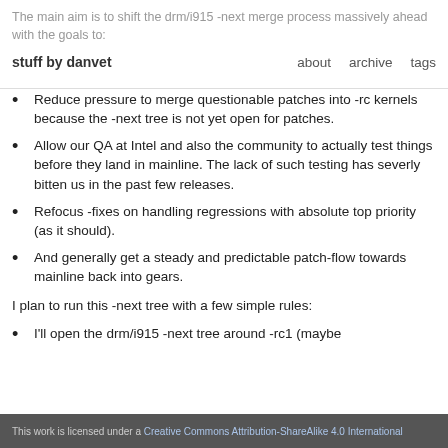The main aim is to shift the drm/i915 -next merge process massively ahead with the goals to:  stuff by danvet   about   archive   tags
Reduce pressure to merge questionable patches into -rc kernels because the -next tree is not yet open for patches.
Allow our QA at Intel and also the community to actually test things before they land in mainline. The lack of such testing has severly bitten us in the past few releases.
Refocus -fixes on handling regressions with absolute top priority (as it should).
And generally get a steady and predictable patch-flow towards mainline back into gears.
I plan to run this -next tree with a few simple rules:
I'll open the drm/i915 -next tree around -rc1 (maybe
This work is licensed under a Creative Commons Attribution-ShareAlike 4.0 International